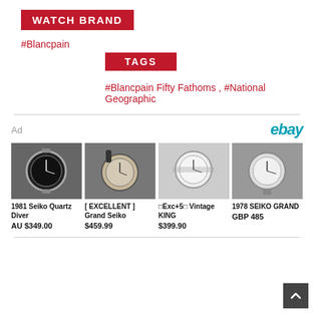WATCH BRAND
#Blancpain
TAGS
#Blancpain Fifty Fathoms , #National Geographic
[Figure (screenshot): eBay advertisement showing four watch listings: 1981 Seiko Quartz Diver AU $349.00, [ EXCELLENT ] Grand Seiko $459.99, Exc+5 Vintage KING $399.90, 1978 SEIKO GRAND GBP 485]
Ad
ebay
1981 Seiko Quartz Diver
AU $349.00
[ EXCELLENT ] Grand Seiko
$459.99
⊡Exc+5⊡ Vintage KING
$399.90
1978 SEIKO GRAND
GBP 485